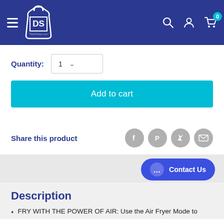[Figure (logo): DS (TheDSshop.com) logo on dark blue navigation header with hamburger menu, search, user, and cart icons]
Quantity: 1
Add to cart
Share this product
[Figure (infographic): Social share icons: Facebook, Pinterest, Twitter, Email]
Contact Us
Description
FRY WITH THE POWER OF AIR: Use the Air Fryer Mode to